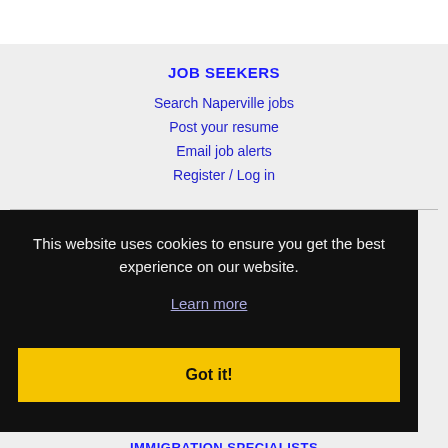JOB SEEKERS
Search Naperville jobs
Post your resume
Email job alerts
Register / Log in
This website uses cookies to ensure you get the best experience on our website.
Learn more
Got it!
IMMIGRATION SPECIALISTS